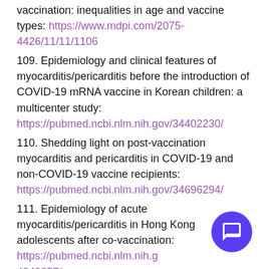vaccination: inequalities in age and vaccine types: https://www.mdpi.com/2075-4426/11/11/1106
109. Epidemiology and clinical features of myocarditis/pericarditis before the introduction of COVID-19 mRNA vaccine in Korean children: a multicenter study: https://pubmed.ncbi.nlm.nih.gov/34402230/
110. Shedding light on post-vaccination myocarditis and pericarditis in COVID-19 and non-COVID-19 vaccine recipients: https://pubmed.ncbi.nlm.nih.gov/34696294/
111. Epidemiology of acute myocarditis/pericarditis in Hong Kong adolescents after co-vaccination: https://pubmed.ncbi.nlm.nih.gov/34849657/